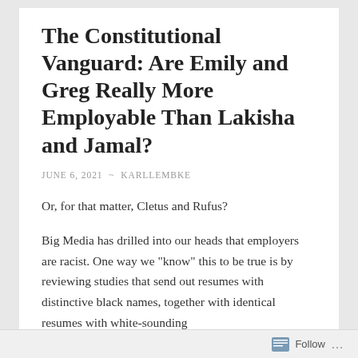The Constitutional Vanguard: Are Emily and Greg Really More Employable Than Lakisha and Jamal?
JUNE 6, 2021 ~ KARLLEMBKE
Or, for that matter, Cletus and Rufus?
Big Media has drilled into our heads that employers are racist. One way we "know" this to be true is by reviewing studies that send out resumes with distinctive black names, together with identical resumes with white-sounding